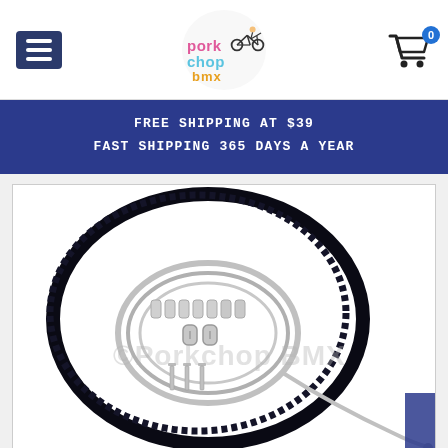[Figure (logo): Pork Chop BMX logo with colorful cartoon lettering and a small figure riding a bike]
FREE SHIPPING AT $39
FAST SHIPPING 365 DAYS A YEAR
[Figure (photo): Bicycle brake cable kit laid on white background showing black outer cable housing coiled in a large circle, smaller inner stainless steel cable coiled inside, ferrules/end caps, barrel adjusters, and anchor bolts. Porkchop BMX watermark visible.]